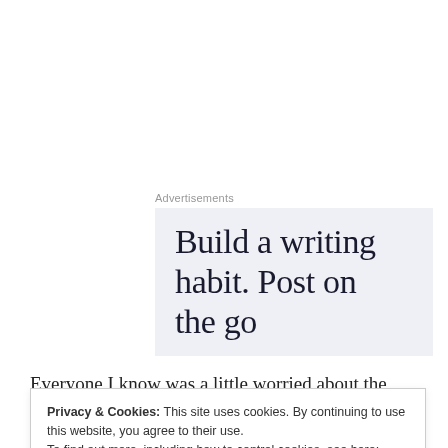Advertisements
[Figure (illustration): Advertisement banner with light blue-grey background showing text: 'Build a writing habit. Post on the go']
Everyone I know was a little worried about the possibility of me being alone with him for a full
Privacy & Cookies: This site uses cookies. By continuing to use this website, you agree to their use.
To find out more, including how to control cookies, see here: Cookie Policy
Close and accept
you may say your boy was in a car